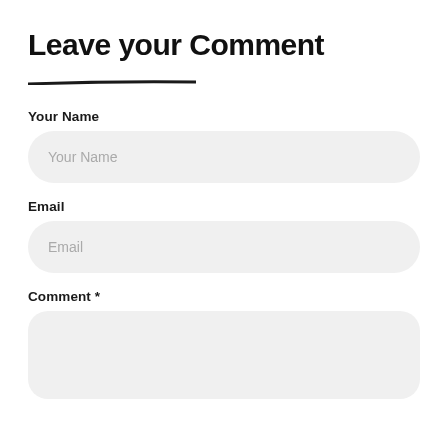Leave your Comment
Your Name
Your Name (placeholder)
Email
Email (placeholder)
Comment *
(comment textarea)